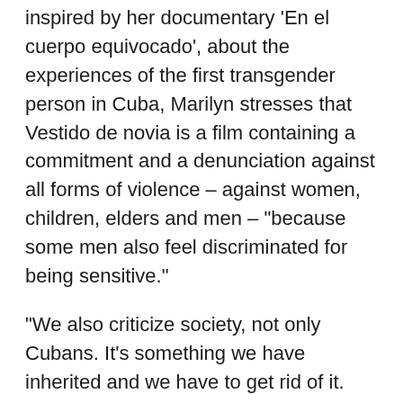inspired by her documentary 'En el cuerpo equivocado', about the experiences of the first transgender person in Cuba, Marilyn stresses that Vestido de novia is a film containing a commitment and a denunciation against all forms of violence – against women, children, elders and men – "because some men also feel discriminated for being sensitive."
"We also criticize society, not only Cubans. It's something we have inherited and we have to get rid of it. Vestido de novia is pretty much true-to-life, because the year 1994 was a difficult year, and that is reflected in the film. I wanted to convey that even though our world was coming to an end – the world many people know – there were people going through other kinds of crises," the filmmaker explained.
"I was very lucky to have these great actors working